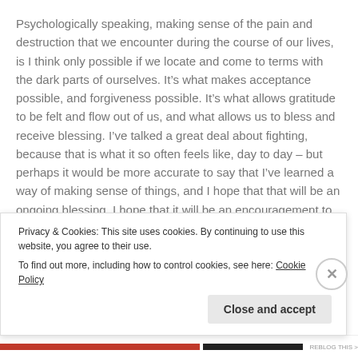Psychologically speaking, making sense of the pain and destruction that we encounter during the course of our lives, is I think only possible if we locate and come to terms with the dark parts of ourselves. It's what makes acceptance possible, and forgiveness possible. It's what allows gratitude to be felt and flow out of us, and what allows us to bless and receive blessing. I've talked a great deal about fighting, because that is what it so often feels like, day to day – but perhaps it would be more accurate to say that I've learned a way of making sense of things, and I hope that that will be an ongoing blessing. I hope that it will be an encouragement to remember that we are
Privacy & Cookies: This site uses cookies. By continuing to use this website, you agree to their use.
To find out more, including how to control cookies, see here: Cookie Policy
Close and accept